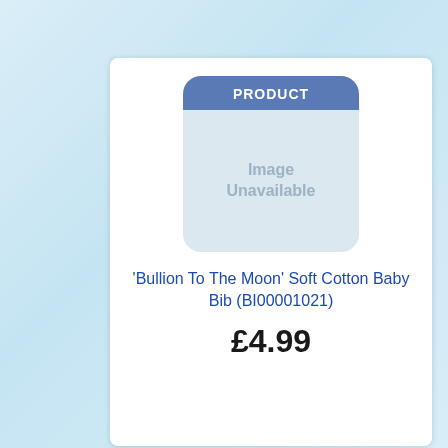[Figure (other): Product image unavailable placeholder with blue header reading PRODUCT and grey body reading Image Unavailable]
'Bullion To The Moon' Soft Cotton Baby Bib (BI00001021)
£4.99